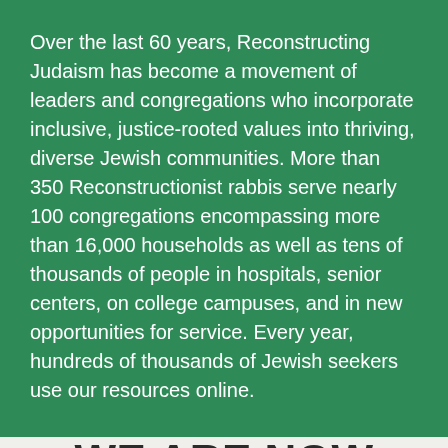Over the last 60 years, Reconstructing Judaism has become a movement of leaders and congregations who incorporate inclusive, justice-rooted values into thriving, diverse Jewish communities. More than 350 Reconstructionist rabbis serve nearly 100 congregations encompassing more than 16,000 households as well as tens of thousands of people in hospitals, senior centers, on college campuses, and in new opportunities for service. Every year, hundreds of thousands of Jewish seekers use our resources online.
WE ARE NOW WORKING TOWARD EXPONENTIAL IMPACT